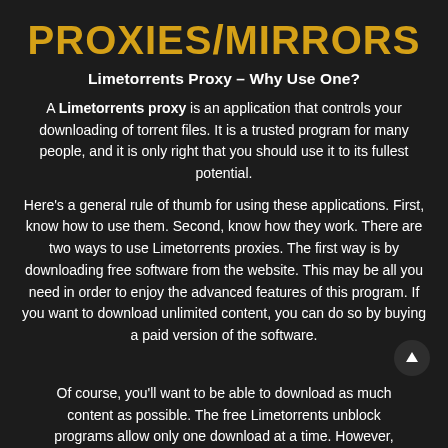PROXIES/MIRRORS
Limetorrents Proxy – Why Use One?
A Limetorrents proxy is an application that controls your downloading of torrent files. It is a trusted program for many people, and it is only right that you should use it to its fullest potential.
Here's a general rule of thumb for using these applications. First, know how to use them. Second, know how they work. There are two ways to use Limetorrents proxies. The first way is by downloading free software from the website. This may be all you need in order to enjoy the advanced features of this program. If you want to download unlimited content, you can do so by buying a paid version of the software.
Of course, you'll want to be able to download as much content as possible. The free Limetorrents unblock programs allow only one download at a time. However,